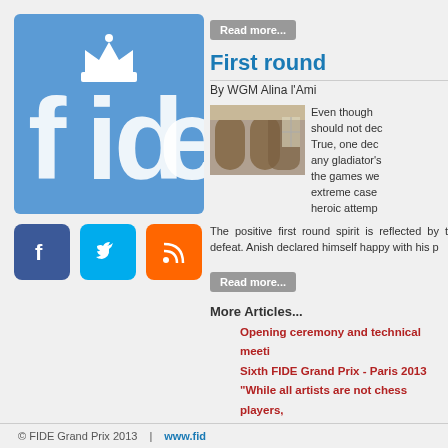[Figure (logo): FIDE logo — blue square with stylized 'fide' text in white and a chess crown icon]
[Figure (illustration): Social media icons: Facebook (blue), Twitter (teal), RSS (orange)]
Read more...
First round
By WGM Alina l'Ami
[Figure (photo): A partial photo of an ornate interior hall/building]
Even though should not dec True, one dec any gladiator's the games we extreme case heroic attemp
The positive first round spirit is reflected by t defeat. Anish declared himself happy with his p
Read more...
More Articles...
Opening ceremony and technical meeti
Sixth FIDE Grand Prix - Paris 2013
"While all artists are not chess players,
<<
© FIDE Grand Prix 2013  |  www.fid